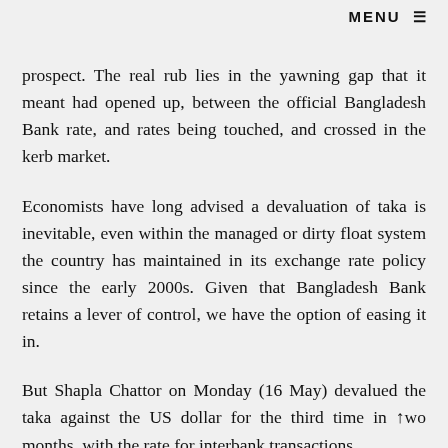MENU ≡
prospect. The real rub lies in the yawning gap that it meant had opened up, between the official Bangladesh Bank rate, and rates being touched, and crossed in the kerb market.
Economists have long advised a devaluation of taka is inevitable, even within the managed or dirty float system the country has maintained in its exchange rate policy since the early 2000s. Given that Bangladesh Bank retains a lever of control, we have the option of easing it in.
But Shapla Chattor on Monday (16 May) devalued the taka against the US dollar for the third time in two months, with the rate for interbank transactions